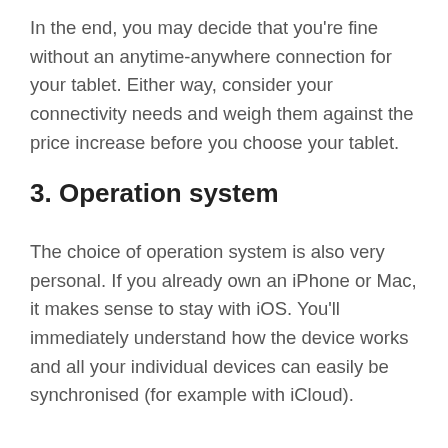In the end, you may decide that you're fine without an anytime-anywhere connection for your tablet. Either way, consider your connectivity needs and weigh them against the price increase before you choose your tablet.
3. Operation system
The choice of operation system is also very personal. If you already own an iPhone or Mac, it makes sense to stay with iOS. You'll immediately understand how the device works and all your individual devices can easily be synchronised (for example with iCloud).